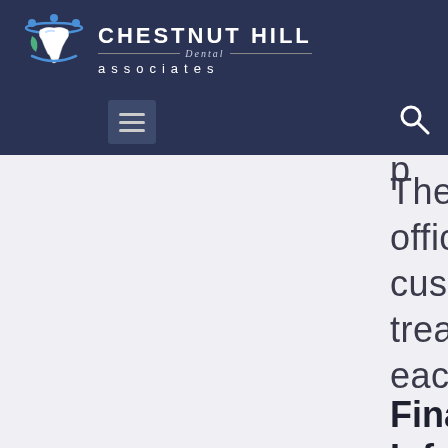[Figure (logo): Chestnut Hill Dental Associates logo with stylized tooth and people icon on dark navy background]
Therefore, our office creates custom dental treatment plans for each patient.
Financial Information